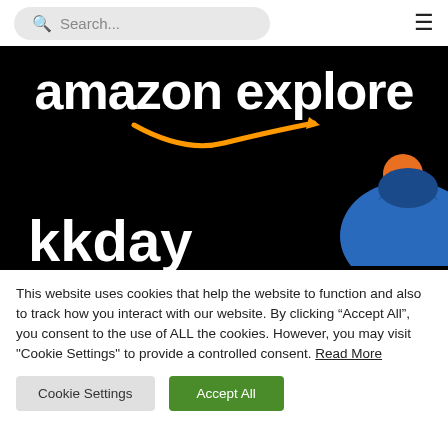[Figure (screenshot): Navigation bar with search field and hamburger menu icon]
[Figure (logo): Amazon Explore logo on black background, with kkday logo partially visible at bottom]
This website uses cookies that help the website to function and also to track how you interact with our website. By clicking “Accept All”, you consent to the use of ALL the cookies. However, you may visit "Cookie Settings" to provide a controlled consent. Read More
Cookie Settings
Accept All